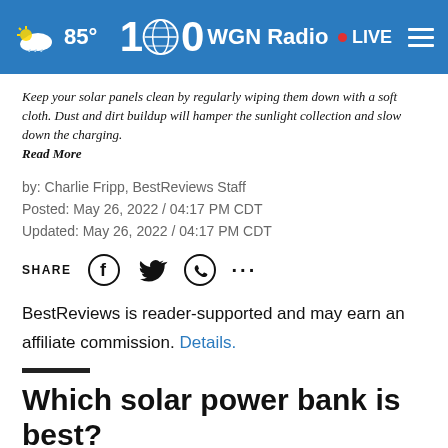85° WGN Radio • LIVE
Keep your solar panels clean by regularly wiping them down with a soft cloth. Dust and dirt buildup will hamper the sunlight collection and slow down the charging. Read More
by: Charlie Fripp, BestReviews Staff
Posted: May 26, 2022 / 04:17 PM CDT
Updated: May 26, 2022 / 04:17 PM CDT
SHARE
BestReviews is reader-supported and may earn an affiliate commission. Details.
Which solar power bank is best?